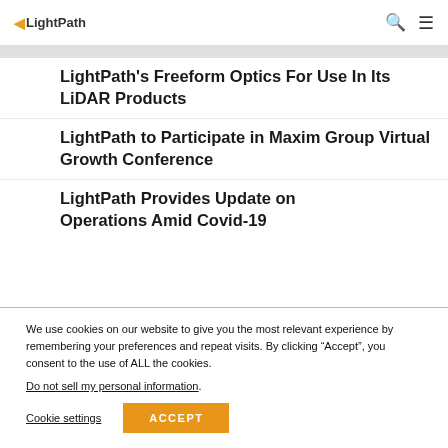LightPath (logo) | Search | Menu
LightPath's Freeform Optics For Use In Its LiDAR Products
LightPath to Participate in Maxim Group Virtual Growth Conference
LightPath Provides Update on Operations Amid Covid-19...
We use cookies on our website to give you the most relevant experience by remembering your preferences and repeat visits. By clicking “Accept”, you consent to the use of ALL the cookies.
Do not sell my personal information.
Cookie settings   ACCEPT